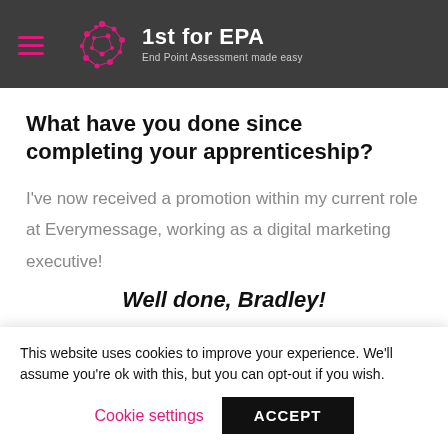1st for EPA — End Point Assessment made easy
What have you done since completing your apprenticeship?
I've now received a promotion within my current role at Everymessage, working as a digital marketing executive!
Well done, Bradley!
This website uses cookies to improve your experience. We'll assume you're ok with this, but you can opt-out if you wish.
Cookie settings   ACCEPT